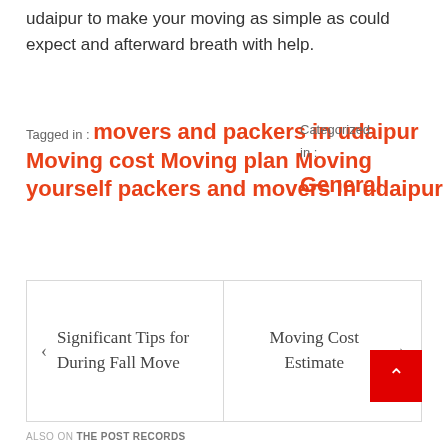udaipur to make your moving as simple as could expect and afterward breath with help.
Tagged in : movers and packers in udaipur Moving cost Moving plan Moving yourself packers and movers in udaipur   Categorized in : General
< Significant Tips for During Fall Move
Moving Cost Estimate >
ALSO ON THE POST RECORDS